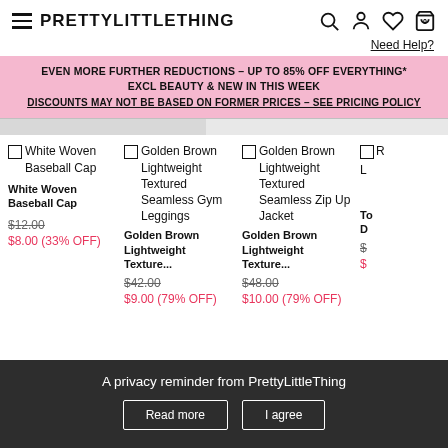PRETTYLITTLETHING
Need Help?
EVEN MORE FURTHER REDUCTIONS – UP TO 85% OFF EVERYTHING* EXCL BEAUTY & NEW IN THIS WEEK
DISCOUNTS MAY NOT BE BASED ON FORMER PRICES – SEE PRICING POLICY
White Woven Baseball Cap
White Woven Baseball Cap
$12.00
$8.00 (33% OFF)
Golden Brown Lightweight Textured Seamless Gym Leggings
Golden Brown Lightweight Texture...
$42.00
$9.00 (79% OFF)
Golden Brown Lightweight Textured Seamless Zip Up Jacket
Golden Brown Lightweight Texture...
$48.00
$10.00 (79% OFF)
R... L...
A privacy reminder from PrettyLittleThing